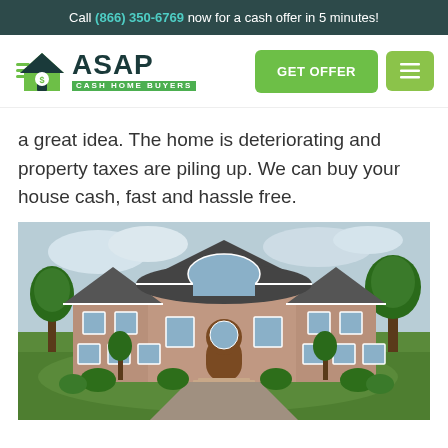Call (866) 350-6769 now for a cash offer in 5 minutes!
[Figure (logo): ASAP Cash Home Buyers logo with green house icon and green GET OFFER button and menu icon]
a great idea. The home is deteriorating and property taxes are piling up. We can buy your house cash, fast and hassle free.
[Figure (photo): Two-story brick house with gray roof, arched windows, and landscaped front yard with trees and shrubs on a cloudy day.]